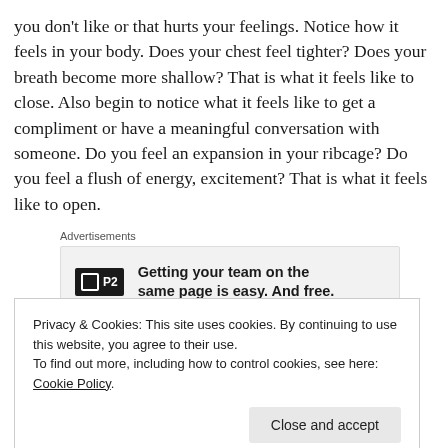you don't like or that hurts your feelings. Notice how it feels in your body. Does your chest feel tighter? Does your breath become more shallow? That is what it feels like to close. Also begin to notice what it feels like to get a compliment or have a meaningful conversation with someone. Do you feel an expansion in your ribcage? Do you feel a flush of energy, excitement? That is what it feels like to open.
[Figure (other): Advertisement banner for P2 service. Logo shows a black box with 'P2' text. Ad text reads: Getting your team on the same page is easy. And free.]
Once we can identify these sensations in the body, we can learn to stop closing our hearts all together. We
Privacy & Cookies: This site uses cookies. By continuing to use this website, you agree to their use. To find out more, including how to control cookies, see here: Cookie Policy.
always be in love and to share that energy with